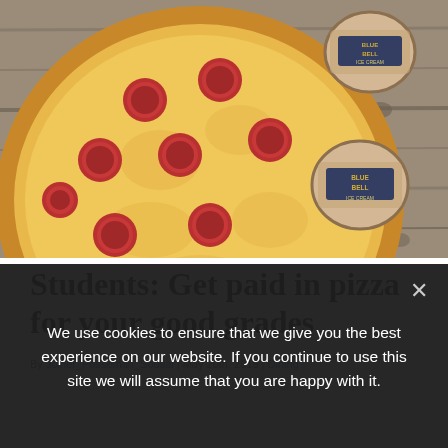[Figure (photo): A pepperoni pizza next to several Blue Bell ice cream cups on a wooden surface]
Students: Get paid in pizza for your good grades
By Joiner_Posseman_Sodsal | May 20th 2019 | Dining
We use cookies to ensure that we give you the best experience on our website. If you continue to use this site we will assume that you are happy with it.